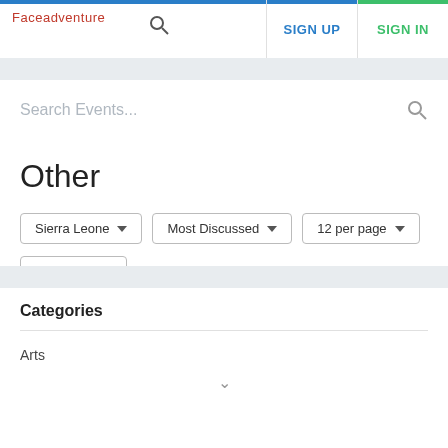Faceadventure | SIGN UP | SIGN IN
Search Events...
Other
Sierra Leone ▼   Most Discussed ▼   12 per page ▼   Upcoming ▼
No events found.
Categories
Arts